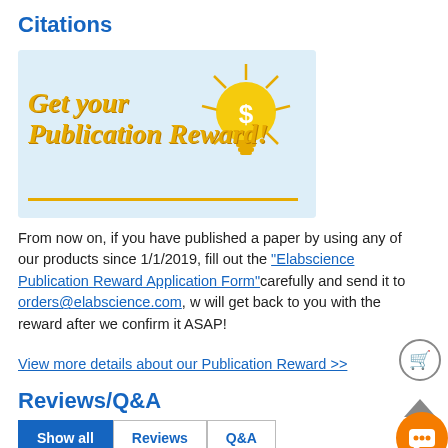Citations
[Figure (illustration): Promotional banner with light blue background showing bold italic yellow text 'Get your Publication Reward!' with a glowing lightbulb icon containing a dollar sign on the right side, and a yellow underline below the text.]
From now on, if you have published a paper by using any of our products since 1/1/2019, fill out the "Elabscience Publication Reward Application Form" carefully and send it to orders@elabscience.com, w will get back to you with the reward after we confirm it ASAP!
View more details about our Publication Reward >>
Reviews/Q&A
Show all | Reviews | Q&A